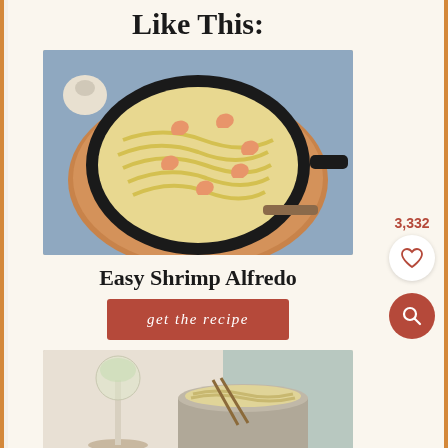Like This:
[Figure (photo): A black cast iron skillet filled with shrimp fettuccine alfredo pasta, placed on a wooden cutting board with a blue cloth in the background and garlic cloves nearby.]
Easy Shrimp Alfredo
get the recipe
[Figure (photo): A wine glass with white wine next to a ceramic pot of pasta noodles with chopsticks resting on top, on a light surface with a cloth.]
3,332